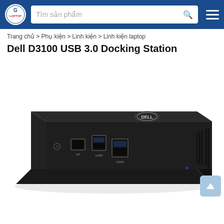Tìm sản phẩm [search bar with G9 Laptop logo and hamburger menu]
Trang chủ > Phụ kiện > Linh kiện > Linh kiện laptop
Dell D3100 USB 3.0 Docking Station
[Figure (photo): Dell D3100 USB 3.0 Docking Station – black rectangular docking station with Dell logo on top, showing front ports including audio jack, DisplayPort, and two USB 3.0 ports, with ventilation grilles on the right side.]